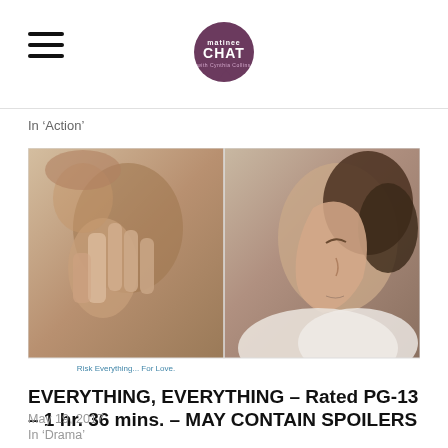matinee CHAT
In 'Action'
[Figure (photo): Movie promotional image for 'Everything, Everything' showing two scenes side by side: left shows a woman pressing her hand against glass with her reflection, right shows a young woman in profile with curly hair. Text overlay on left image reads 'Risk Everything... For Love.']
EVERYTHING, EVERYTHING – Rated PG-13 – 1 hr. 36 mins. – MAY CONTAIN SPOILERS
May 19, 2017
In "Drama"